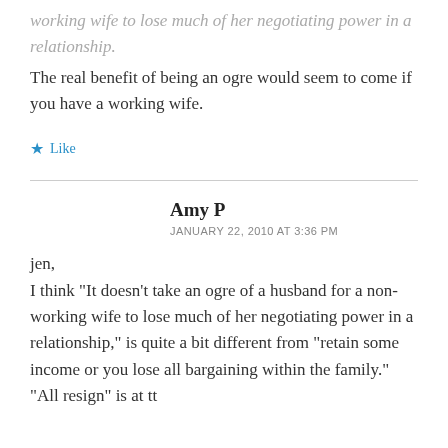working wife to lose much of her negotiating power in a relationship.
The real benefit of being an ogre would seem to come if you have a working wife.
★ Like
Amy P
JANUARY 22, 2010 AT 3:36 PM
jen,
I think "It doesn't take an ogre of a husband for a non-working wife to lose much of her negotiating power in a relationship," is quite a bit different from "retain some income or you lose all bargaining within the family." "All resign" is at tt